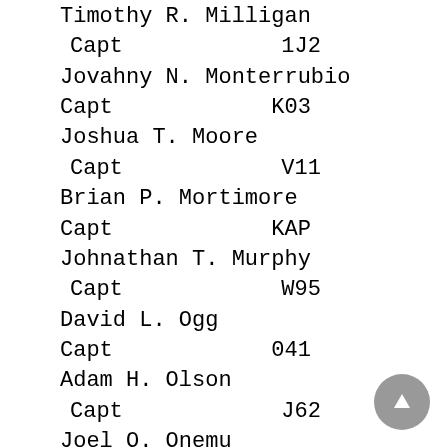Timothy R. Milligan
  Capt            1J2
Jovahny N. Monterrubio
Capt            K03
Joshua T. Moore
  Capt            V11
Brian P. Mortimore
Capt            KAP
Johnathan T. Murphy
  Capt            W95
David L. Ogg
Capt            041
Adam H. Olson
  Capt            J62
Joel O. Onemu
  Capt            1DX
Christopher Ostor